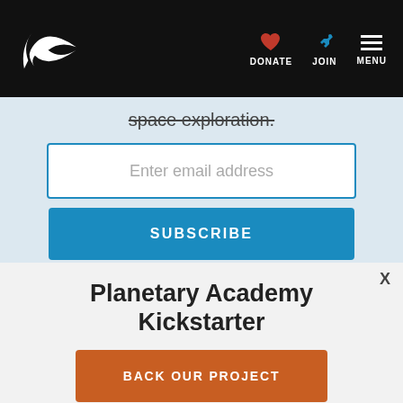Navigation bar with logo, DONATE, JOIN, MENU
space exploration.
Enter email address
SUBSCRIBE
X
Planetary Academy Kickstarter
BACK OUR PROJECT